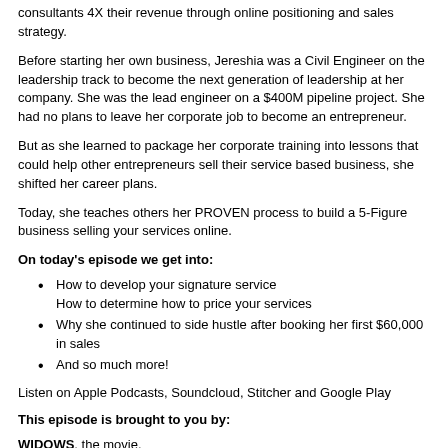consultants 4X their revenue through online positioning and sales strategy.
Before starting her own business, Jereshia was a Civil Engineer on the leadership track to become the next generation of leadership at her company. She was the lead engineer on a $400M pipeline project. She had no plans to leave her corporate job to become an entrepreneur.
But as she learned to package her corporate training into lessons that could help other entrepreneurs sell their service based business, she shifted her career plans.
Today, she teaches others her PROVEN process to build a 5-Figure business selling your services online.
On today's episode we get into:
How to develop your signature service
How to determine how to price your services
Why she continued to side hustle after booking her first $60,000 in sales
And so much more!
Listen on Apple Podcasts, Soundcloud, Stitcher and Google Play
This episode is brought to you by:
WIDOWS, the movie.